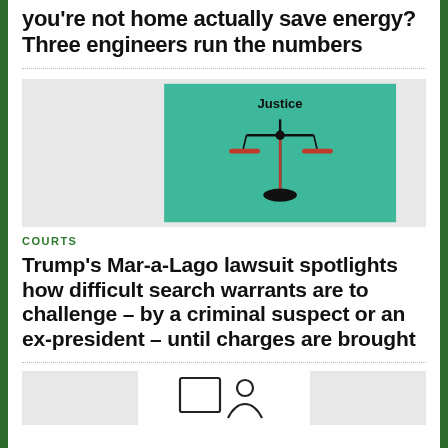Does turning the air conditioning off when you're not home actually save energy? Three engineers run the numbers
[Figure (illustration): Illustration of scales of justice on a teal/green background with the word 'Justice' at the top. A balance beam scale is depicted with red pans and a black vertical pole with a dark oval base.]
COURTS
Trump's Mar-a-Lago lawsuit spotlights how difficult search warrants are to challenge – by a criminal suspect or an ex-president – until charges are brought
[Figure (illustration): Partial view of article thumbnails at the bottom of the page showing three article preview images side by side. The center image shows an outline of a document/monitor icon and a person silhouette icon.]